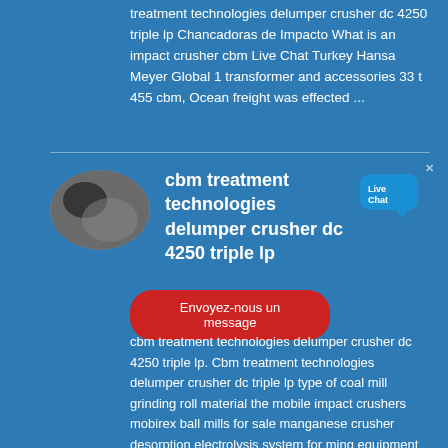treatment technologies delumper crusher dc 4250 triple lp Chancadoras de Impacto What is an impact crusher cbm Live Chat Turkey Hansa Meyer Global 1 transformer and accessories 33 t 455 cbm, Ocean freight was effected ...
[Figure (photo): Thumbnail photo of coal/rock material, oval/elliptical crop]
cbm treatment technologies delumper crusher dc 4250 triple lp
[Figure (infographic): Live Chat speech bubble button in blue with 'Live Chat' text]
Envoyez-nous un message
cbm treatment technologies delumper crusher dc 4250 triple lp. Cbm treatment technologies delumper crusher dc triple lp type of coal mill grinding roll material the mobile impact crushers mobirex ball mills for sale manganese crusher desorption electrolysis system for ming equipment with